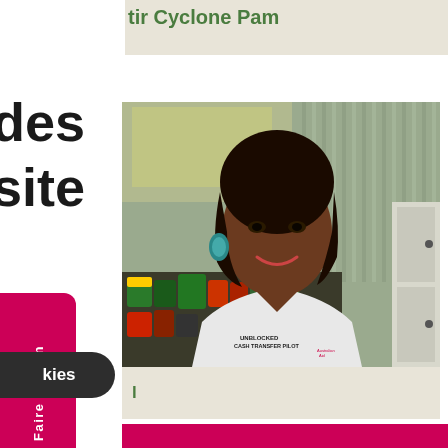tir Cyclone Pam
des
site
[Figure (photo): Woman smiling, wearing a white t-shirt that reads 'UNBLOCKED CASH TRANSFER PILOT' with Australian Aid logo, standing in front of shelves with canned goods]
l
Faire un don
de
ut
kies
[Figure (other): Pink/magenta bottom bar]